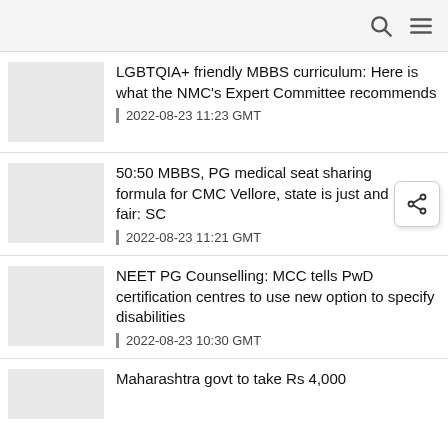LGBTQIA+ friendly MBBS curriculum: Here is what the NMC's Expert Committee recommends | 2022-08-23 11:23 GMT
50:50 MBBS, PG medical seat sharing formula for CMC Vellore, state is just and fair: SC | 2022-08-23 11:21 GMT
NEET PG Counselling: MCC tells PwD certification centres to use new option to specify disabilities | 2022-08-23 10:30 GMT
Maharashtra govt to take Rs 4,000